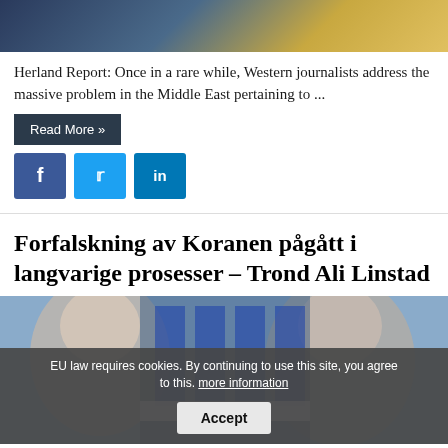[Figure (photo): Top decorative image with golden and blue tones]
Herland Report: Once in a rare while, Western journalists address the massive problem in the Middle East pertaining to ...
Read More »
[Figure (infographic): Social media share buttons: Facebook, Twitter, LinkedIn]
Forfalskning av Koranen pågått i langvarige prosesser – Trond Ali Linstad
[Figure (photo): Photo of two people with cookie consent banner overlay]
EU law requires cookies. By continuing to use this site, you agree to this. more information
Accept